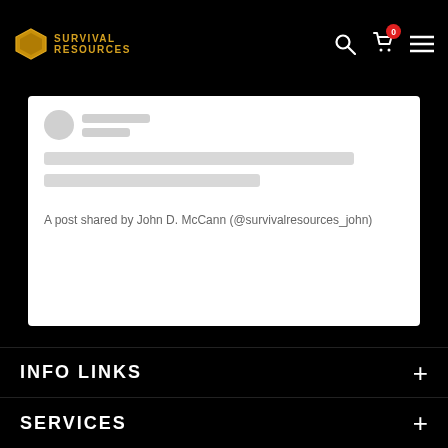SURVIVAL RESOURCES
[Figure (screenshot): Blurred/loading Instagram embed card showing a skeleton avatar, skeleton content lines, and attribution text: A post shared by John D. McCann (@survivalresources_john)]
A post shared by John D. McCann (@survivalresources_john)
INFO LINKS
SERVICES